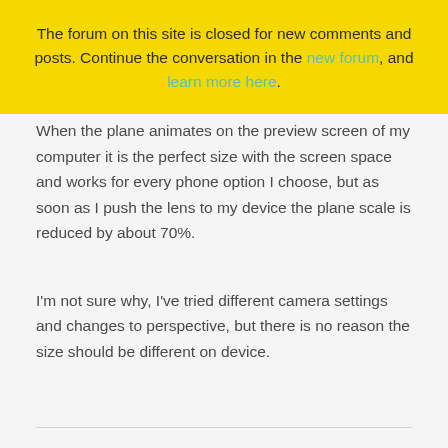The forum on this site is closed for new comments and posts. Continue the conversation in the new forum, and learn more here.
When the plane animates on the preview screen of my computer it is the perfect size with the screen space and works for every phone option I choose, but as soon as I push the lens to my device the plane scale is reduced by about 70%.
I'm not sure why, I've tried different camera settings and changes to perspective, but there is no reason the size should be different on device.